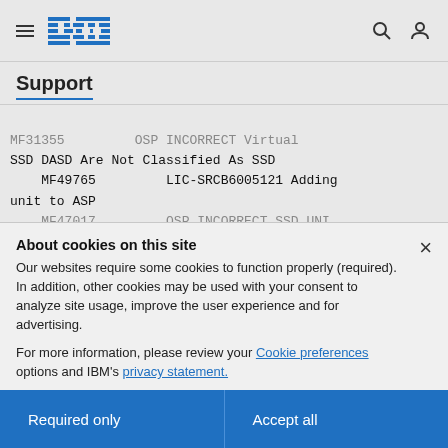IBM Support
Support
MF31355   OSP INCORRECT Virtual SSD DASD Are Not Classified As SSD
MF49765   LIC-SRCB6005121 Adding unit to ASP
MF47017   OSP INCORRECT SSD UNIT...
About cookies on this site
Our websites require some cookies to function properly (required). In addition, other cookies may be used with your consent to analyze site usage, improve the user experience and for advertising.

For more information, please review your Cookie preferences options and IBM's privacy statement.
Required only
Accept all